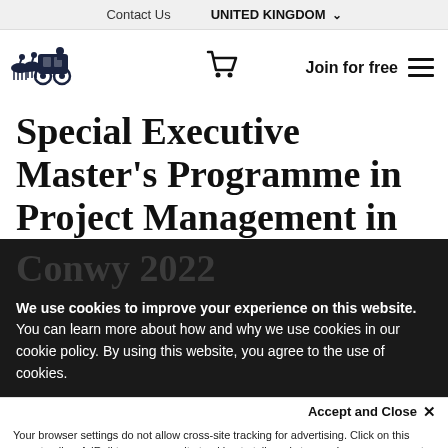Contact Us   UNITED KINGDOM
[Figure (logo): Horse-drawn carriage logo (dark navy illustration)]
Special Executive Master's Programme in Project Management in Conwy 2022
We use cookies to improve your experience on this website. You can learn more about how and why we use cookies in our cookie policy. By using this website, you agree to the use of cookies.
Accept and Close ×
Your browser settings do not allow cross-site tracking for advertising. Click on this page to allow AdRoll to use cross-site tracking to tailor ads to you. Learn more or opt out of this AdRoll tracking by clicking here. This message only appears once.